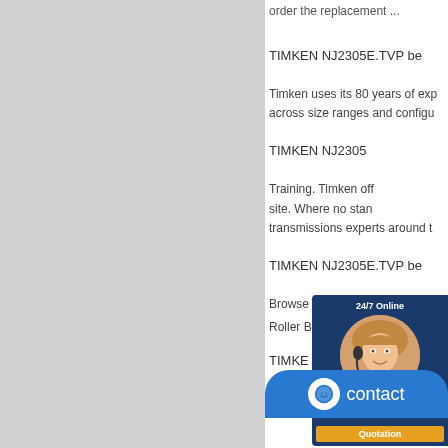[Figure (other): Grey left panel background area]
order the replacement ...
TIMKEN NJ2305E.TVP be
Timken uses its 80 years of exp across size ranges and configu
TIMKEN NJ2305
Training. Timken off site. Where no stan transmissions experts around t
TIMKEN NJ2305E.TVP be
Browse Spherical Roller Bearin
Roller Bearings - Brass Cage,S
TIMKE be
[Figure (other): 24/7 Online chat widget with agent photo, enter requests text, and Quotation button]
[Figure (other): Blue contact button with smiley face icon]